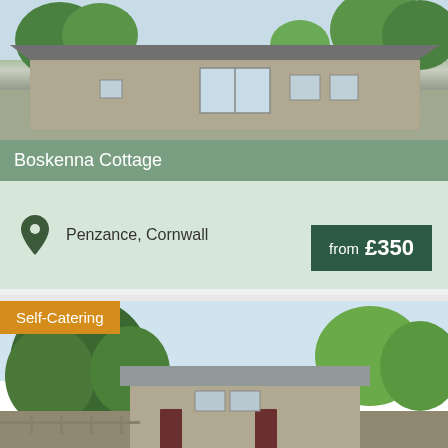[Figure (photo): Boskenna Cottage exterior photo showing a modern stone bungalow with trees in background]
Boskenna Cottage
Penzance, Cornwall
from £350
[Figure (photo): Chark Farm exterior photo showing a stone barn building with trees]
Chark Farm
Self-Catering